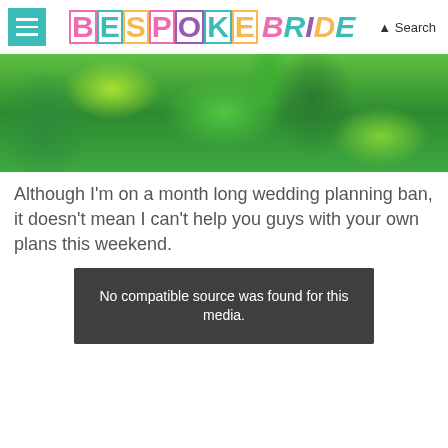BESPOKE BRIDE — Search
[Figure (photo): Close-up of tropical green palm leaves with bright green and white tones, used as a decorative banner image.]
Although I'm on a month long wedding planning ban, it doesn't mean I can't help you guys with your own plans this weekend.
[Figure (screenshot): Video media player showing error message: No compatible source was found for this media.]